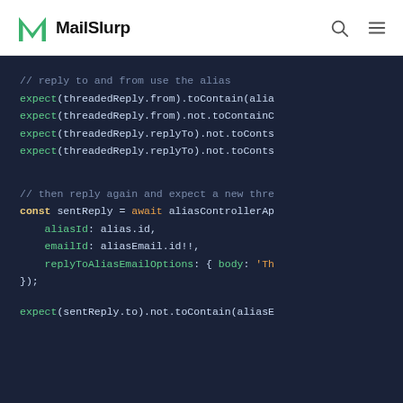MailSlurp
[Figure (screenshot): Code editor screenshot showing JavaScript test code with MailSlurp API calls. Dark navy background with syntax-highlighted code including comments, expect statements, const declarations, await expressions, and property assignments.]